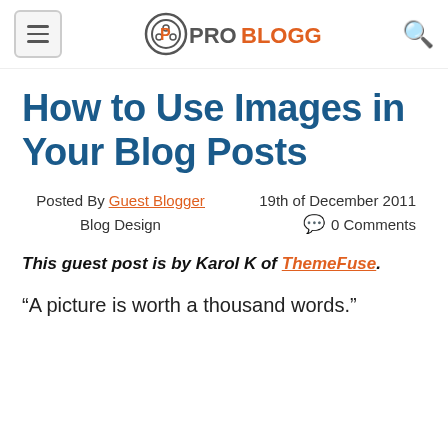ProBlogger
How to Use Images in Your Blog Posts
Posted By Guest Blogger   19th of December 2011
Blog Design   0 Comments
This guest post is by Karol K of ThemeFuse.
“A picture is worth a thousand words.”